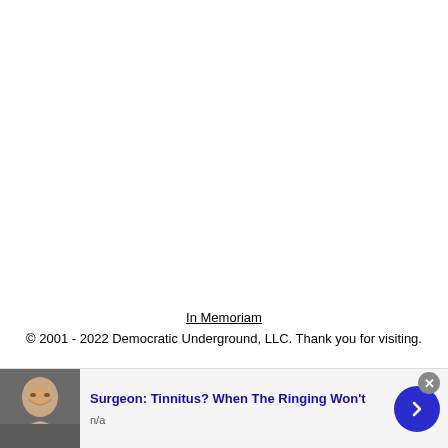In Memoriam
© 2001 - 2022 Democratic Underground, LLC. Thank you for visiting.
[Figure (photo): Advertisement banner with photo of a person and text 'Surgeon: Tinnitus? When The Ringing Won't' with n/a subtext and a blue arrow button]